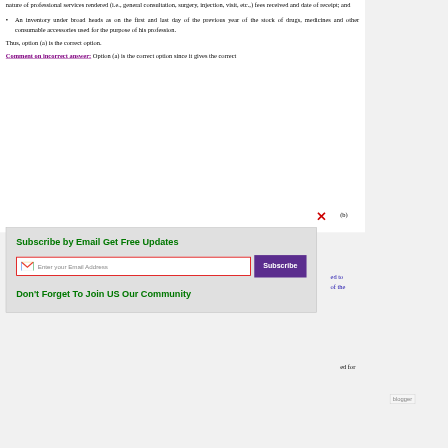An inventory under broad heads as on the first and last day of the previous year of the stock of drugs, medicines and other consumable accessories used for the purpose of his profession.
Thus, option (a) is the correct option.
Comment on incorrect answer: Option (a) is the correct option since it gives the correct
[Figure (screenshot): Email subscription popup with title 'Subscribe by Email Get Free Updates', an email input field with Gmail icon, a Subscribe button, and text 'Don't Forget To Join US Our Community']